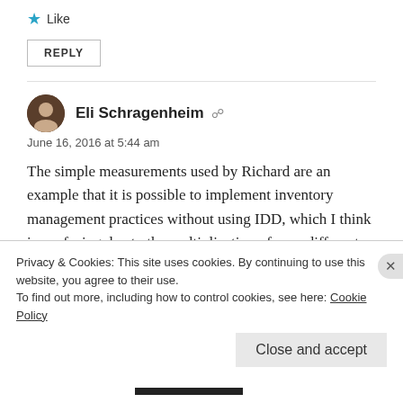★ Like
REPLY
Eli Schragenheim
June 16, 2016 at 5:44 am
The simple measurements used by Richard are an example that it is possible to implement inventory management practices without using IDD, which I think is confusing due to the multiplication of very different entities: money and time.
Privacy & Cookies: This site uses cookies. By continuing to use this website, you agree to their use.
To find out more, including how to control cookies, see here: Cookie Policy
Close and accept